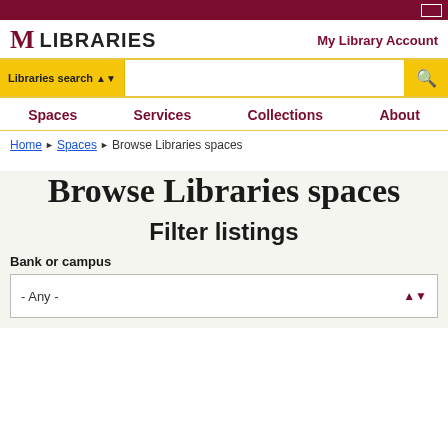M LIBRARIES | My Library Account
Libraries search | [search input] | [search button]
Spaces | Services | Collections | About
Home > Spaces > Browse Libraries spaces
Browse Libraries spaces
Filter listings
Bank or campus
- Any -